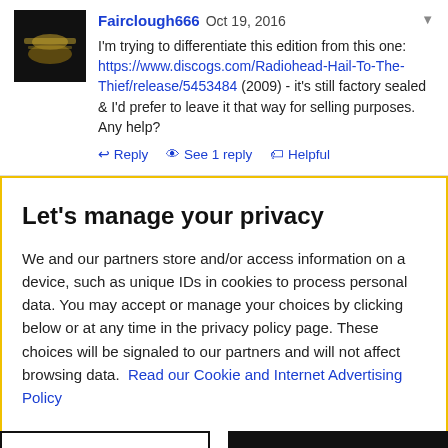Fairclough666 Oct 19, 2016 — I'm trying to differentiate this edition from this one: https://www.discogs.com/Radiohead-Hail-To-The-Thief/release/5453484 (2009) - it's still factory sealed & I'd prefer to leave it that way for selling purposes. Any help?
↩ Reply  👁 See 1 reply  🏷 Helpful
Let's manage your privacy
We and our partners store and/or access information on a device, such as unique IDs in cookies to process personal data. You may accept or manage your choices by clicking below or at any time in the privacy policy page. These choices will be signaled to our partners and will not affect browsing data. Read our Cookie and Internet Advertising Policy
Cookies Settings | Accept All Cookies